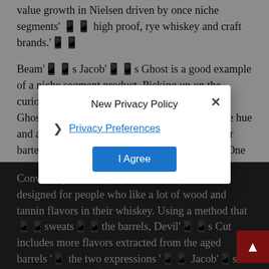value growth in Nielsen driven by once niche segments' high proof, rye whiskey and craft brands.'’’
Beam’’’s Jacob’’’s Ghost is a good example of a niche segment product. Picking up on the curiosity among whiskey drinkers for raw spirit, Ghost is aged for one year, the oak adding a pale hue and a bit of maturity, making it more suitable for bartenders to use in cocktails, Noe says. ‘’’One year in the barrel really softens up that white dog quality, giving it a little bit of that wood quality. There’’’s a place for white whiskey as long as it’’’s palatable.’’
Conversely, Beam’’’s Devil’’’s Cut is designed for people who like a lot of wood and tannin flavors in their whiskey. Using a method that ‘’’sweats’’’ the barrels, Devil’’’s Cut includes more flavors extracted from the aged barrels ‘’ the two expressions ‘’’ Jacob’’’s Cut and Devil’’’s Cut – examples of whiskey makers trying to create expressions
New Privacy Policy
Privacy Preferences
I Agree